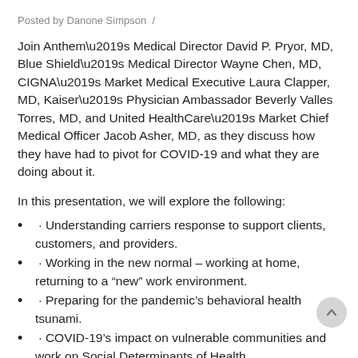Posted by Danone Simpson  /
Join Anthem’s Medical Director David P. Pryor, MD, Blue Shield’s Medical Director Wayne Chen, MD, CIGNA’s Market Medical Executive Laura Clapper, MD, Kaiser’s Physician Ambassador Beverly Valles Torres, MD, and United HealthCare’s Market Chief Medical Officer Jacob Asher, MD, as they discuss how they have had to pivot for COVID-19 and what they are doing about it.
In this presentation, we will explore the following:
· Understanding carriers response to support clients, customers, and providers.
· Working in the new normal – working at home, returning to a “new” work environment.
· Preparing for the pandemic’s behavioral health tsunami.
· COVID-19’s impact on vulnerable communities and work on Social Determinants of Health.